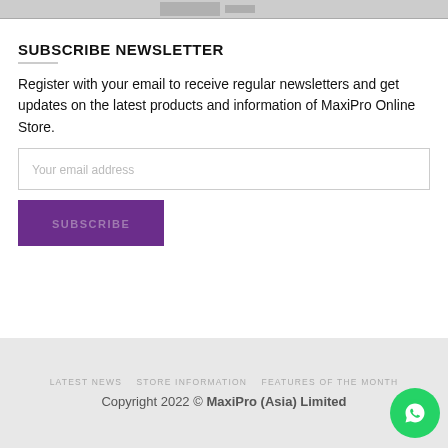[Figure (photo): Top image bar from previous section]
SUBSCRIBE NEWSLETTER
Register with your email to receive regular newsletters and get updates on the latest products and information of MaxiPro Online Store.
Your email address
SUBSCRIBE
LATEST NEWS   STORE INFORMATION   FEATURES OF THE MONTH
Copyright 2022 © MaxiPro (Asia) Limited